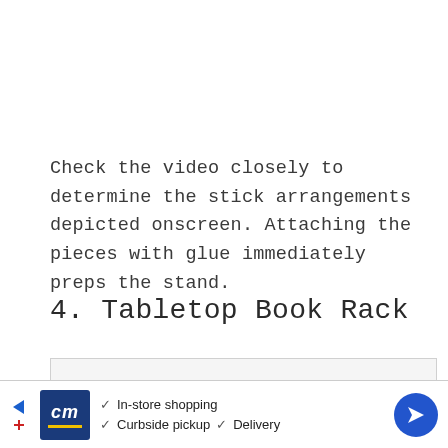Check the video closely to determine the stick arrangements depicted onscreen. Attaching the pieces with glue immediately preps the stand.
4. Tabletop Book Rack
[Figure (photo): Partial view of a tabletop book rack, showing the top portion of a wooden rack structure against a light background.]
[Figure (other): Advertisement banner for a store offering In-store shopping, Curbside pickup, and Delivery, with a blue CM logo and a blue navigation arrow icon.]